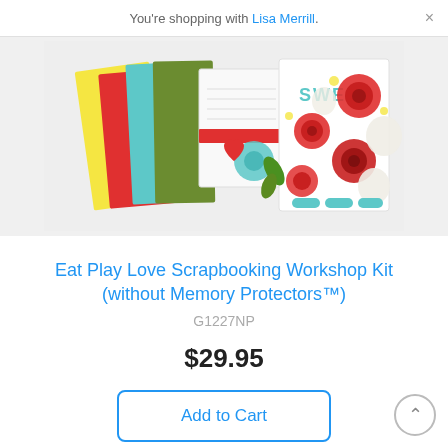You're shopping with Lisa Merrill.
[Figure (photo): Scrapbooking workshop kit product image showing colorful patterned papers, sticker sheets with roses, and decorative elements including 'SWEET' text, hearts, and floral designs in red, teal, yellow, green and white.]
Eat Play Love Scrapbooking Workshop Kit (without Memory Protectors™)
G1227NP
$29.95
Add to Cart